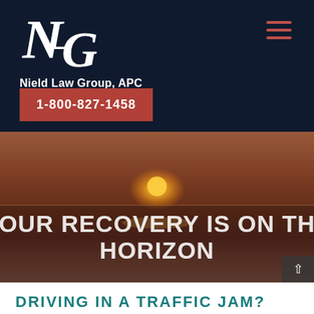[Figure (logo): NLG monogram logo for Nield Law Group, APC on dark navy background]
Nield Law Group, APC
1-800-827-1458
[Figure (photo): Sunset over ocean horizon with muted warm tones, hero background image]
YOUR RECOVERY IS ON THE HORIZON
DRIVING IN A TRAFFIC JAM?